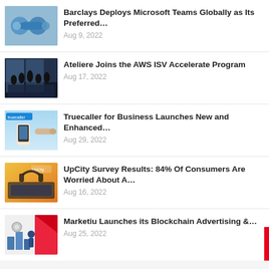Barclays Deploys Microsoft Teams Globally as Its Preferred… Aug 9, 2022
Ateliere Joins the AWS ISV Accelerate Program Aug 17, 2022
Truecaller for Business Launches New and Enhanced… Aug 29, 2022
UpCity Survey Results: 84% Of Consumers Are Worried About A… Aug 16, 2022
Marketiu Launches its Blockchain Advertising &… Aug 25, 2022